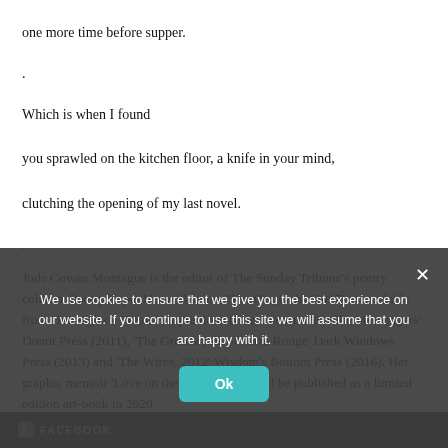one more time before supper.
.
Which is when I found
you sprawled on the kitchen floor, a knife in your mind,
clutching the opening of my last novel.
.
Jude Cowan Montague is the editor of The Sunday Tribune’s poetry column, Poetry Expo. Her collection, ‘The Originals’ (2017) is available from Hesterglock Press. Her previous collections are ‘For the Messengers’ Donut Press (2011), ‘The Groodoyals of Terre Rouge’ Dark Windows Press (2013) and ‘The Wires, 2012’ Wisdom’s Bottom Press (2016). Her graphic memoir ‘Love on the Isle of Dogs’ will be published as a limited edition art-book in 2020.
f FACEBOOK
We use cookies to ensure that we give you the best experience on our website. If you continue to use this site we will assume that you are happy with it. Ok ×